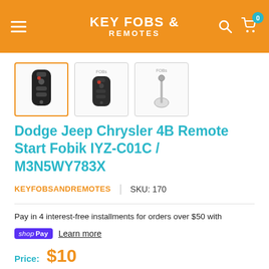KEY FOBS & REMOTES
[Figure (photo): Three thumbnail images of a Dodge Jeep Chrysler key fob remote: full front view (selected), front view, and back/blade view]
Dodge Jeep Chrysler 4B Remote Start Fobik IYZ-C01C / M3N5WY783X
KEYFOBSANDREMOTES | SKU: 170
Pay in 4 interest-free installments for orders over $50 with
shop Pay  Learn more
Price:  $10
Shipping calculated at checkout